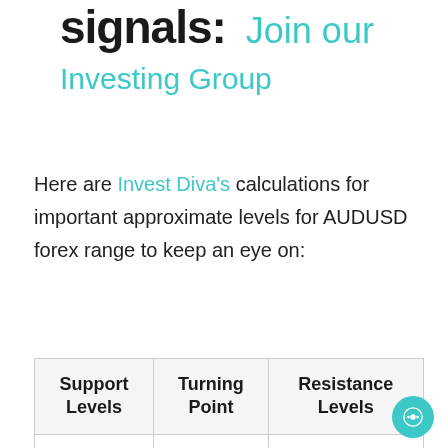signals: Join our Investing Group
Here are Invest Diva's calculations for important approximate levels for AUDUSD forex range to keep an eye on:
| Support Levels | Turning Point | Resistance Levels |
| --- | --- | --- |
| 0.7169 | 0.75 | 0.7430 |